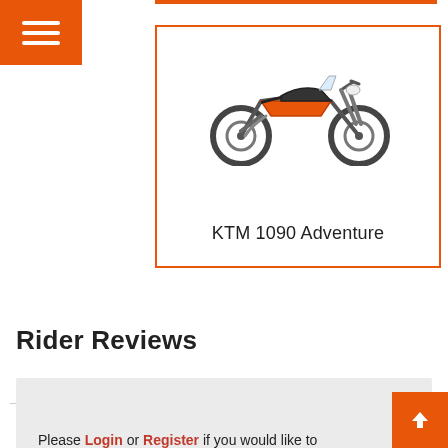[Figure (other): Hamburger menu icon on orange background, top-left corner]
[Figure (photo): KTM 1090 Adventure motorcycle image inside an orange-bordered card]
KTM 1090 Adventure
Rider Reviews
Add a Comment
Please Login or Register if you would like to
[Figure (other): Scroll-to-top button with upward chevron on orange background, bottom-right corner]